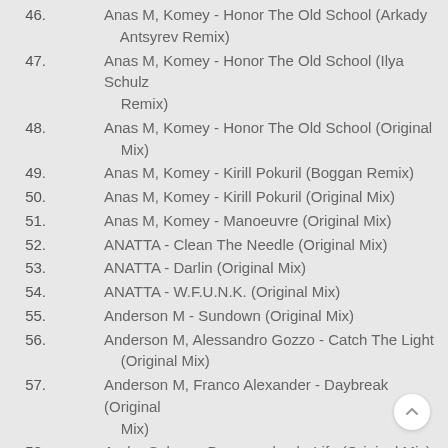46. Anas M, Komey - Honor The Old School (Arkady Antsyrev Remix)
47. Anas M, Komey - Honor The Old School (Ilya Schulz Remix)
48. Anas M, Komey - Honor The Old School (Original Mix)
49. Anas M, Komey - Kirill Pokuril (Boggan Remix)
50. Anas M, Komey - Kirill Pokuril (Original Mix)
51. Anas M, Komey - Manoeuvre (Original Mix)
52. ANATTA - Clean The Needle (Original Mix)
53. ANATTA - Darlin (Original Mix)
54. ANATTA - W.F.U.N.K. (Original Mix)
55. Anderson M - Sundown (Original Mix)
56. Anderson M, Alessandro Gozzo - Catch The Light (Original Mix)
57. Anderson M, Franco Alexander - Daybreak (Original Mix)
58. Andre Salmon, Draganeskool - Life (Original Mix)